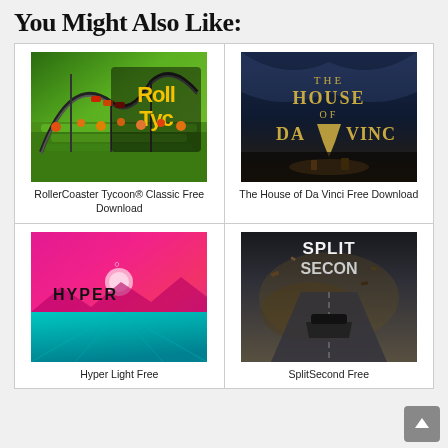You Might Also Like:
[Figure (illustration): RollerCoaster Tycoon Classic game cover art showing a roller coaster with colorful cars going around a loop with green hedges and the text RollTyc visible]
RollerCoaster Tycoon® Classic Free Download
[Figure (illustration): The House of Da Vinci game cover art with dark blue/gold atmospheric background and the text THE HOUSE OF DA VINCI]
The House of Da Vinci Free Download
[Figure (illustration): Hyper Light Drifter game cover art with vibrant neon pink and teal colors and the word HYPER visible]
Hyper Light Drifter Free
[Figure (illustration): Split Second game cover art with dark dramatic action car racing scene and the text SPLIT SECOND visible]
SplitSecond Free